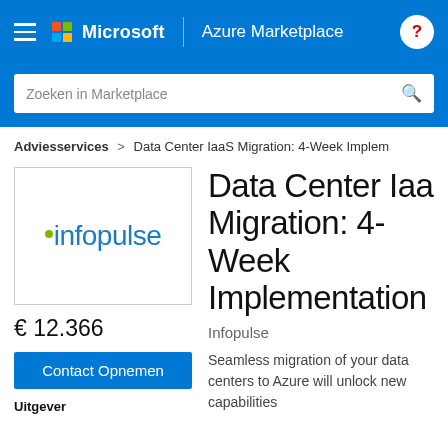Microsoft | Azure Marketplace
[Figure (screenshot): Search bar with placeholder text 'Zoeken in Marketplace' and a search icon]
Adviesservices > Data Center IaaS Migration: 4-Week Implem
[Figure (logo): Infopulse logo with green dot before blue text 'infopulse']
€ 12.366
Contact Opnemen
Uitgever
Data Center IaaS Migration: 4-Week Implementation
Infopulse
Seamless migration of your data centers to Azure will unlock new capabilities